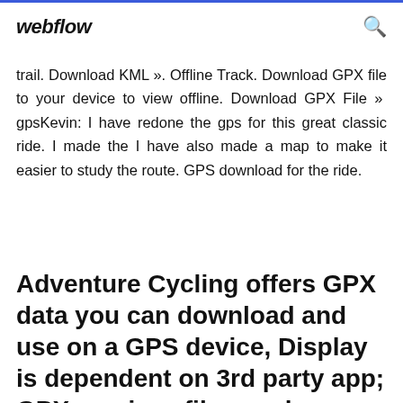webflow
trail. Download KML ». Offline Track. Download GPX file to your device to view offline. Download GPX File »  gpsKevin: I have redone the gps for this great classic ride. I made the I have also made a map to make it easier to study the route. GPS download for the ride.
Adventure Cycling offers GPX data you can download and use on a GPS device, Display is dependent on 3rd party app; GPX services file may be edited